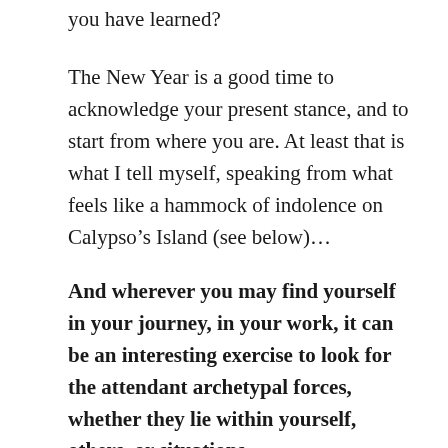you have learned?
The New Year is a good time to acknowledge your present stance, and to start from where you are. At least that is what I tell myself, speaking from what feels like a hammock of indolence on Calypso’s Island (see below)…
And wherever you may find yourself in your journey, in your work, it can be an interesting exercise to look for the attendant archetypal forces, whether they lie within yourself, others, or situations.
The below categories are my play on themes from the story of the Greek hero Odysseus’ 10-year journey